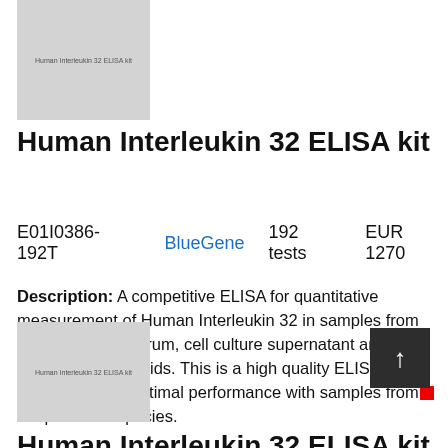[Figure (photo): Product image placeholder for Human Interleukin 32 ELISA kit, gray rectangle with label text]
Human Interleukin 32 ELISA kit
E01I0386-192T    BlueGene    192 tests    EUR 1270
Description: A competitive ELISA for quantitative measurement of Human Interleukin 32 in samples from blood, plasma, serum, cell culture supernatant and other biological fluids. This is a high quality ELISA kit developped for optimal performance with samples from the particular species.
[Figure (photo): Second product image placeholder for Human Interleukin 32 ELISA kit, gray rectangle with label text]
Human Interleukin 32 ELISA kit